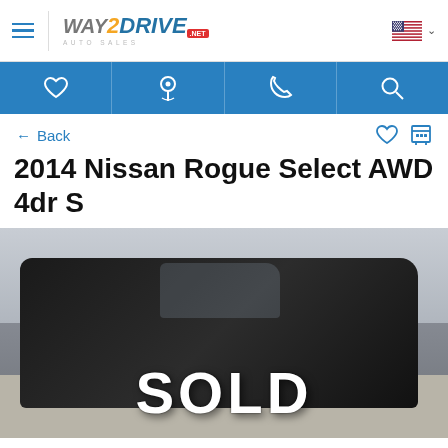[Figure (logo): Way2Drive Auto Sales logo with hamburger menu and US flag]
[Figure (infographic): Blue navigation bar with heart (favorites), map pin (location), phone, and search icons]
← Back
2014 Nissan Rogue Select AWD 4dr S
[Figure (photo): Black 2014 Nissan Rogue Select AWD 4dr S SUV photographed in a parking lot with a brick wall background. A large white SOLD watermark is overlaid on the image.]